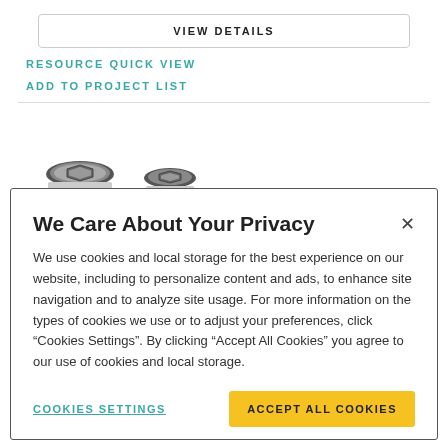VIEW DETAILS
RESOURCE QUICK VIEW
ADD TO PROJECT LIST
[Figure (photo): Two metallic bolt/nut hardware pieces shown from above]
We Care About Your Privacy
We use cookies and local storage for the best experience on our website, including to personalize content and ads, to enhance site navigation and to analyze site usage. For more information on the types of cookies we use or to adjust your preferences, click “Cookies Settings”. By clicking “Accept All Cookies” you agree to our use of cookies and local storage.
COOKIES SETTINGS
ACCEPT ALL COOKIES